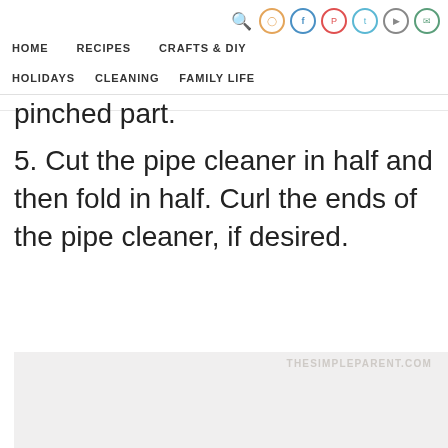HOME   RECIPES   CRAFTS & DIY   HOLIDAYS   CLEANING   FAMILY LIFE
pinched part.
5. Cut the pipe cleaner in half and then fold in half. Curl the ends of the pipe cleaner, if desired.
[Figure (photo): Light grey image placeholder with watermark THESIMPLEPARENT.COM]